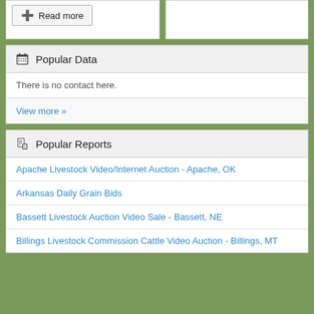Read more
Popular Data
There is no contact here.
View more »
Popular Reports
Apache Livestock Video/Internet Auction - Apache, OK
Arkansas Daily Grain Bids
Bassett Livestock Auction Video Sale - Bassett, NE
Billings Livestock Commission Cattle Video Auction - Billings, MT